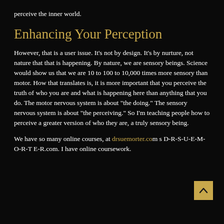perceive the inner world.
Enhancing Your Perception
However, that is a user issue. It's not by design. It's by nurture, not nature that that is happening. By nature, we are sensory beings. Science would show us that we are 10 to 100 to 10,000 times more sensory than motor. How that translates is, it is more important that you perceive the truth of who you are and what is happening here than anything that you do. The motor nervous system is about "the doing." The sensory nervous system is about "the perceiving." So I'm teaching people how to perceive a greater version of who they are, a truly sensory being.
We have so many online courses, at drsuemorter.com s D-R-S-U-E-M-O-R-T E-R.com. I have online coursework.